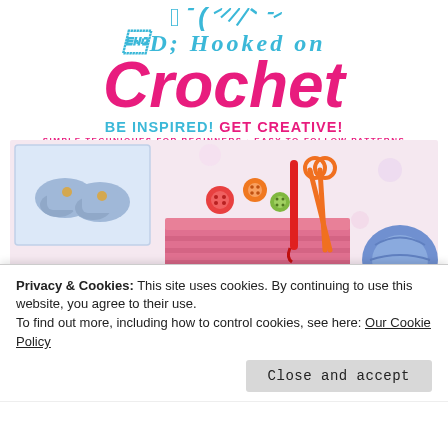Hooked on Crochet
BE INSPIRED! GET CREATIVE!
SIMPLE TECHNIQUES FOR BEGINNERS • EASY-TO-FOLLOW PATTERNS
[Figure (photo): Collage of crochet items: blue baby booties, pink crochet basket with sewing supplies (buttons, scissors, crochet hook, measuring tape), close-up of pink crochet work with hook, and blue yarn balls on floral background.]
Privacy & Cookies: This site uses cookies. By continuing to use this website, you agree to their use.
To find out more, including how to control cookies, see here: Our Cookie Policy
Close and accept